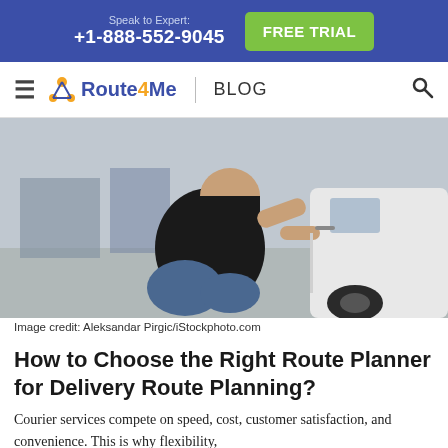Speak to Expert: +1-888-552-9045 | FREE TRIAL
Route4Me | BLOG
[Figure (photo): Person crouching next to a white vehicle, appearing to work on the side door or wheel area, wearing a black long-sleeve shirt and blue jeans.]
Image credit: Aleksandar Pirgic/iStockphoto.com
How to Choose the Right Route Planner for Delivery Route Planning?
Courier services compete on speed, cost, customer satisfaction, and convenience. This is why flexibility,